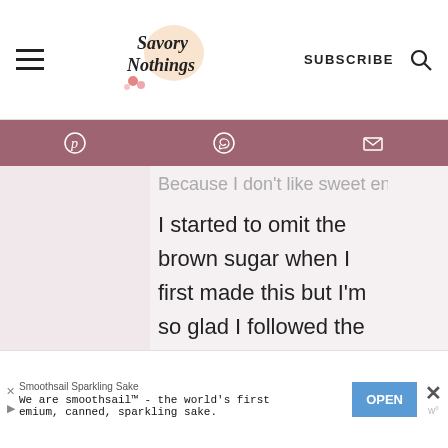Savory Nothings — SUBSCRIBE
Because I don't like sweet entrees,
I started to omit the brown sugar when I first made this but I'm so glad I followed the recipe exactly – it's perfect!! 😚
Reply
21.4k
Smoothsail Sparkling Sake — We are smoothsail™ - the world's first premium, canned, sparkling sake.